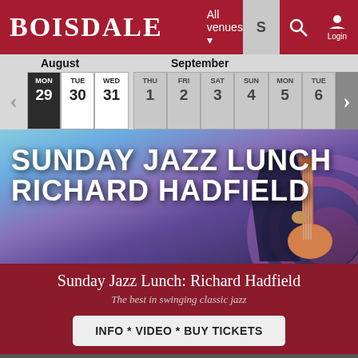BOISDALE  All venues  S  Login
| MON | TUE | WED | THU | FRI | SAT | SUN | MON | TUE |
| --- | --- | --- | --- | --- | --- | --- | --- | --- |
| 29 | 30 | 31 | 1 | 2 | 3 | 4 | 5 | 6 |
[Figure (photo): Sunday Jazz Lunch Richard Hadfield event banner with musician holding guitar, colorful abstract background]
Sunday Jazz Lunch: Richard Hadfield
The best in swinging classic jazz
INFO * VIDEO * BUY TICKETS
Mon 17 Oct 20:30
Boisdale of Belgravia
[Figure (photo): Partial preview of a performer photo at bottom of page]